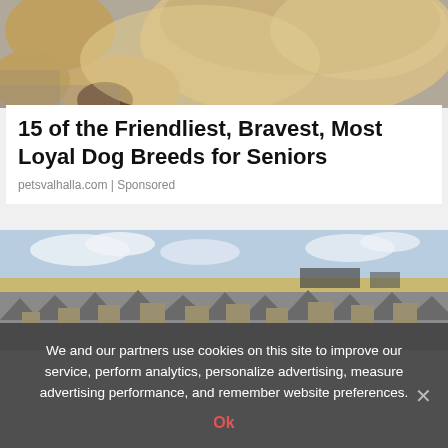[Figure (photo): Close-up photo of a fluffy golden/cream colored dog looking down at the camera from above, on a gravel/concrete surface.]
15 of the Friendliest, Bravest, Most Loyal Dog Breeds for Seniors
petsvalhalla.com | Sponsored
[Figure (photo): Aerial/elevated view of a large suburban residential neighborhood with many houses and rooftops, flat plains landscape with distant horizon and partly cloudy sky.]
We and our partners use cookies on this site to improve our service, perform analytics, personalize advertising, measure advertising performance, and remember website preferences.
Ok